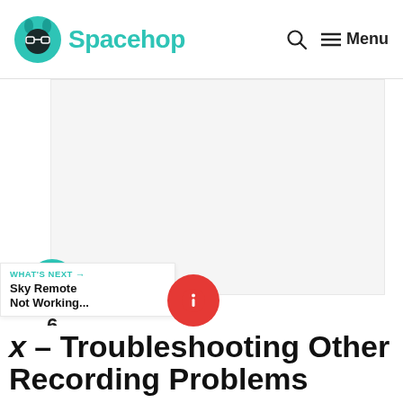Spacehop — Menu
[Figure (other): Large light gray advertisement or placeholder image area]
[Figure (infographic): Social sidebar with heart/like button, count of 6, and share button]
WHAT'S NEXT → Sky Remote Not Working...
[Figure (other): Red circular info button icon]
x – Troubleshooting Other Recording Problems